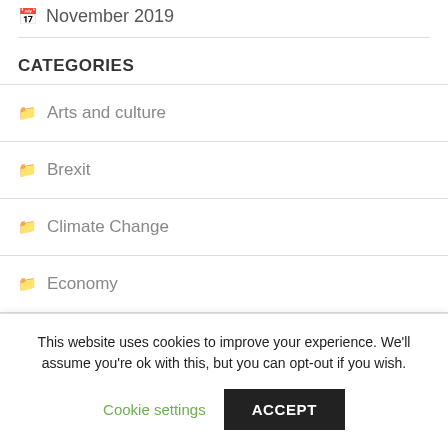November 2019
CATEGORIES
Arts and culture
Brexit
Climate Change
Economy
Environment
This website uses cookies to improve your experience. We'll assume you're ok with this, but you can opt-out if you wish.
Cookie settings
ACCEPT